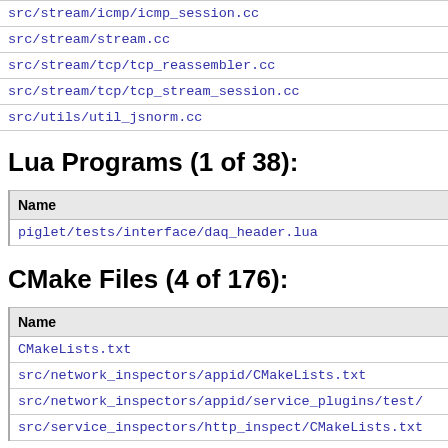| Name |
| --- |
| src/stream/icmp/icmp_session.cc |
| src/stream/stream.cc |
| src/stream/tcp/tcp_reassembler.cc |
| src/stream/tcp/tcp_stream_session.cc |
| src/utils/util_jsnorm.cc |
Lua Programs (1 of 38):
| Name |
| --- |
| piglet/tests/interface/daq_header.lua |
CMake Files (4 of 176):
| Name |
| --- |
| CMakeLists.txt |
| src/network_inspectors/appid/CMakeLists.txt |
| src/network_inspectors/appid/service_plugins/test/ |
| src/service_inspectors/http_inspect/CMakeLists.txt |